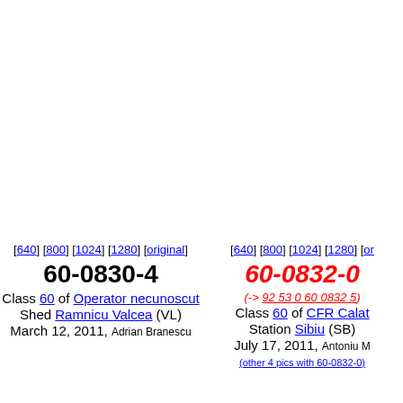[640] [800] [1024] [1280] [original] 60-0830-4 Class 60 of Operator necunoscut Shed Ramnicu Valcea (VL) March 12, 2011, Adrian Branescu
[640] [800] [1024] [1280] [or... 60-0832-0 (-> 92 53 0 60 0832 5) Class 60 of CFR Calat... Station Sibiu (SB) July 17, 2011, Antoniu M... (other 4 pics with 60-0832-0)